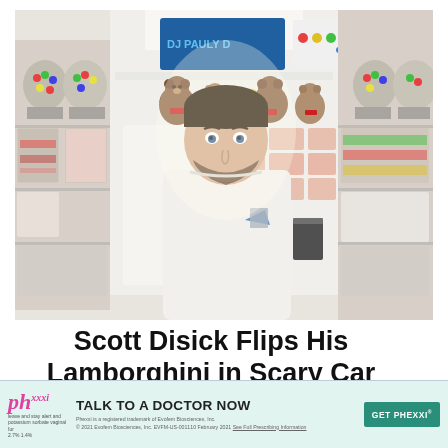[Figure (photo): Man in white sweatshirt standing in a candy/gift shop with stuffed bears and candy dispensers on shelves. A DJ Pauly D sign is visible in the background.]
Scott Disick Flips His Lamborghini in Scary Car Accident: Details
[Figure (infographic): Advertisement banner for Phexxi (prescription contraceptive). Pink cursive 'ph' logo on left. Text: TALK TO A DOCTOR NOW with GET PHEXXI button. Fine print: Phexxi is a registered trademark of Evofem Biosciences, Inc. © 2021 Evofem Biosciences, Inc. EVFM-US-001110 February 2021 See Full Prescribing Information]